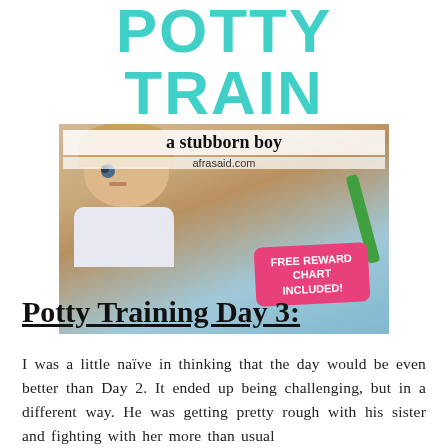[Figure (illustration): Blog post header image for potty training a stubborn boy. Large teal bold text 'POTTY TRAIN' above a card showing a toddler boy looking up, with overlay text 'a stubborn boy' and 'afrasaid.com', and a pink badge reading 'FREE REWARD CHART INCLUDED!']
Potty Training Day 3:
I was a little naïve in thinking that the day would be even better than Day 2. It ended up being challenging, but in a different way. He was getting pretty rough with his sister and fighting with her more than usual